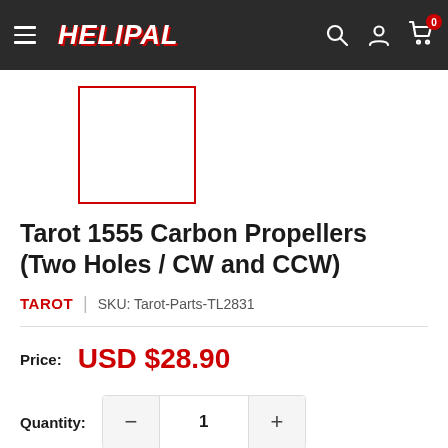HELIPAL
[Figure (photo): Product thumbnail placeholder — empty white box with red border]
Tarot 1555 Carbon Propellers (Two Holes / CW and CCW)
TAROT | SKU: Tarot-Parts-TL2831
Price: USD $28.90
Quantity: 1